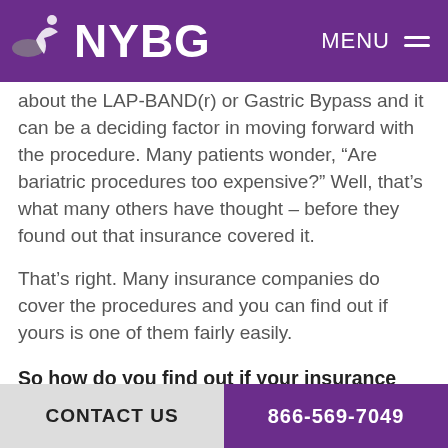NYBG | MENU
about the LAP-BAND(r) or Gastric Bypass and it can be a deciding factor in moving forward with the procedure. Many patients wonder, “Are bariatric procedures too expensive?” Well, that’s what many others have thought – before they found out that insurance covered it.
That’s right. Many insurance companies do cover the procedures and you can find out if yours is one of them fairly easily.
So how do you find out if your insurance company will cover it and if you qualify for the procedure?
CONTACT US | 866-569-7049